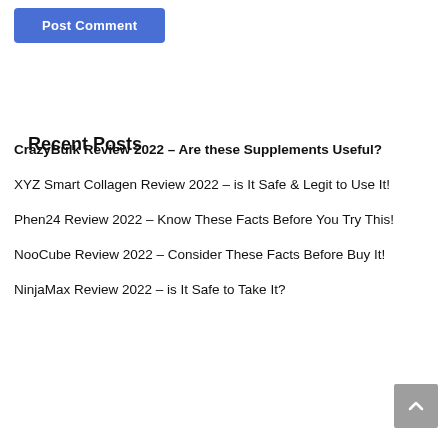[Figure (other): Blue 'Post Comment' button partially visible at top of page]
Recent Posts
CrazyBulk Review 2022 – Are these Supplements Useful?
XYZ Smart Collagen Review 2022 – is It Safe & Legit to Use It!
Phen24 Review 2022 – Know These Facts Before You Try This!
NooCube Review 2022 – Consider These Facts Before Buy It!
NinjaMax Review 2022 – is It Safe to Take It?